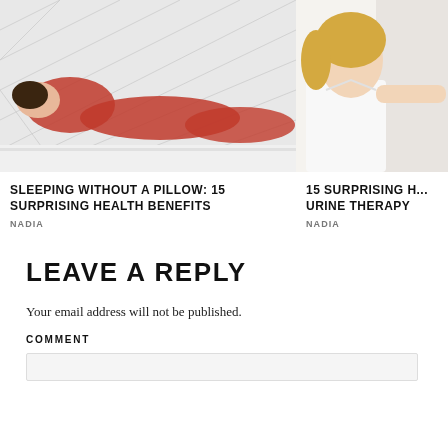[Figure (photo): Woman in red dress lying on white mattress with diamond-tufted headboard behind her]
[Figure (photo): Blonde woman in white shirt reaching arm outward, partial view on right side]
SLEEPING WITHOUT A PILLOW: 15 SURPRISING HEALTH BENEFITS
NADIA
15 SURPRISING H... URINE THERAPY
NADIA
LEAVE A REPLY
Your email address will not be published.
COMMENT